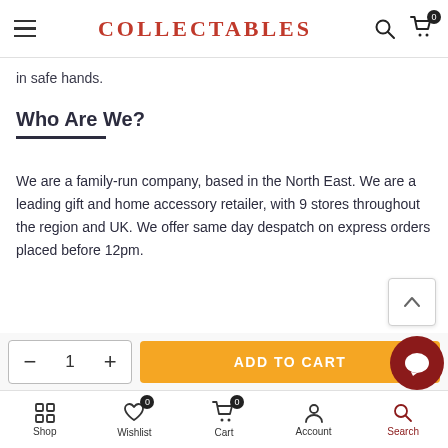COLLECTABLES — navigation header with hamburger menu, logo, search and cart icons
in safe hands.
Who Are We?
We are a family-run company, based in the North East. We are a leading gift and home accessory retailer, with 9 stores throughout the region and UK. We offer same day despatch on express orders placed before 12pm.
Shop  Wishlist 0  Cart 0  Account  Search